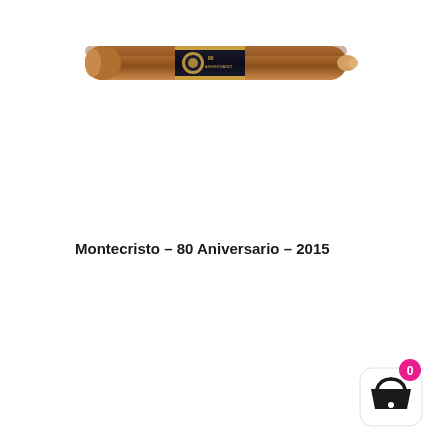[Figure (photo): A cigar with a dark band reading '80 Aniversario', positioned diagonally/horizontally near the top of the page.]
Montecristo – 80 Aniversario – 2015
[Figure (illustration): A shopping basket icon inside a white rounded square, with a magenta/pink circle badge showing '0' in white text at the top right.]